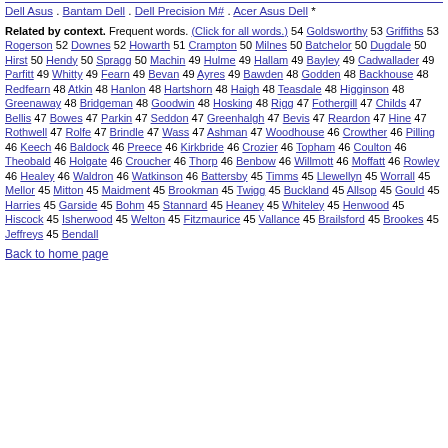Dell Asus . Bantam Dell . Dell Precision M# . Acer Asus Dell *
Related by context. Frequent words. (Click for all words.) 54 Goldsworthy 53 Griffiths 53 Rogerson 52 Downes 52 Howarth 51 Crampton 50 Milnes 50 Batchelor 50 Dugdale 50 Hirst 50 Hendy 50 Spragg 50 Machin 49 Hulme 49 Hallam 49 Bayley 49 Cadwallader 49 Parfitt 49 Whitty 49 Fearn 49 Bevan 49 Ayres 49 Bawden 48 Godden 48 Backhouse 48 Redfearn 48 Atkin 48 Hanlon 48 Hartshorn 48 Haigh 48 Teasdale 48 Higginson 48 Greenaway 48 Bridgeman 48 Goodwin 48 Hosking 48 Rigg 47 Fothergill 47 Childs 47 Bellis 47 Bowes 47 Parkin 47 Seddon 47 Greenhalgh 47 Bevis 47 Reardon 47 Hine 47 Rothwell 47 Rolfe 47 Brindle 47 Wass 47 Ashman 47 Woodhouse 46 Crowther 46 Pilling 46 Keech 46 Baldock 46 Preece 46 Kirkbride 46 Crozier 46 Topham 46 Coulton 46 Theobald 46 Holgate 46 Croucher 46 Thorp 46 Benbow 46 Willmott 46 Moffatt 46 Rowley 46 Healey 46 Waldron 46 Watkinson 46 Battersby 45 Timms 45 Llewellyn 45 Worrall 45 Mellor 45 Mitton 45 Maidment 45 Brookman 45 Twigg 45 Buckland 45 Allsop 45 Gould 45 Harries 45 Garside 45 Bohm 45 Stannard 45 Heaney 45 Whiteley 45 Henwood 45 Hiscock 45 Isherwood 45 Welton 45 Fitzmaurice 45 Vallance 45 Brailsford 45 Brookes 45 Jeffreys 45 Bendall
Back to home page